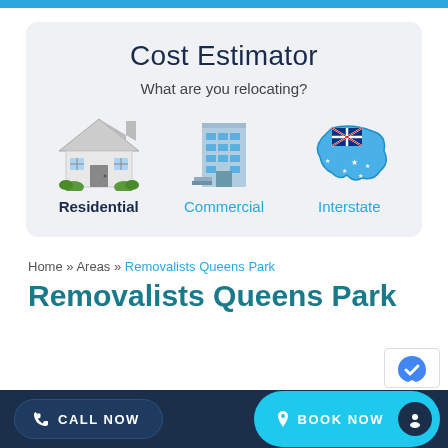[Figure (screenshot): Top blue bar decorative element]
Cost Estimator
What are you relocating?
[Figure (infographic): Three relocation options with icons: Residential (house icon, bold dark), Commercial (office building icon, blue), Interstate (Australia map with flag, blue)]
Home » Areas » Removalists Queens Park
Removalists Queens Park
[Figure (infographic): Bottom navigation bar with CALL NOW and BOOK NOW buttons on dark blue background]